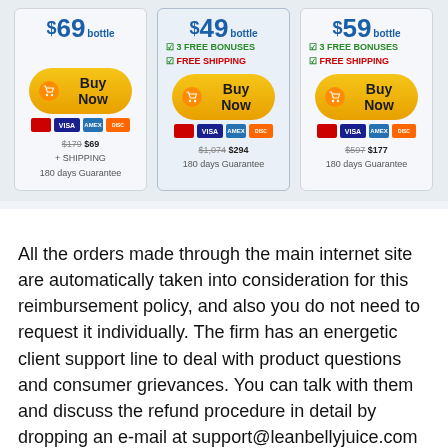[Figure (other): Three pricing cards showing bottle prices: $69/bottle (1 bottle), $49/bottle (6 bottles, 3 free bonuses, free shipping), $39/bottle (3 bottles, 3 free bonuses, free shipping). Each card has a Buy Now button, credit card icons, and pricing details with 180 days Guarantee.]
All the orders made through the main internet site are automatically taken into consideration for this reimbursement policy, and also you do not need to request it individually. The firm has an energetic client support line to deal with product questions and consumer grievances. You can talk with them and discuss the refund procedure in detail by dropping an e-mail at support@leanbellyjuice.com with your contact info. Soon a rep from the firm will certainly contact you for support, and also the